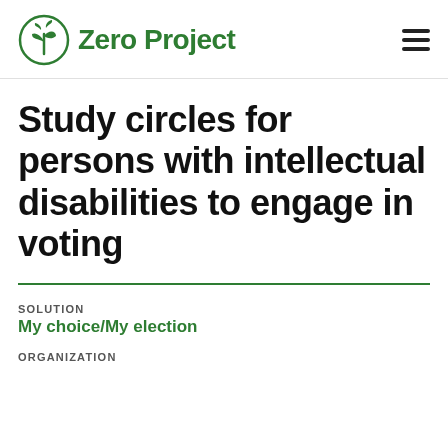Zero Project
Study circles for persons with intellectual disabilities to engage in voting
SOLUTION
My choice/My election
ORGANIZATION